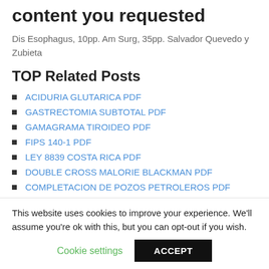content you requested
Dis Esophagus, 10pp. Am Surg, 35pp. Salvador Quevedo y Zubieta
TOP Related Posts
ACIDURIA GLUTARICA PDF
GASTRECTOMIA SUBTOTAL PDF
GAMAGRAMA TIROIDEO PDF
FIPS 140-1 PDF
LEY 8839 COSTA RICA PDF
DOUBLE CROSS MALORIE BLACKMAN PDF
COMPLETACION DE POZOS PETROLEROS PDF
HISTERECTOMIA EXTRAFASCIAL TECNICA QUIRURGICA
This website uses cookies to improve your experience. We'll assume you're ok with this, but you can opt-out if you wish.
Cookie settings | ACCEPT